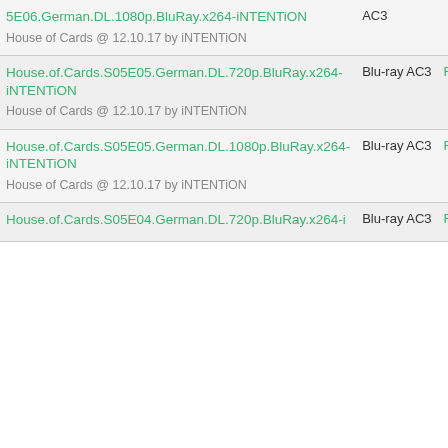| Name | Format | Source | SE | Size |
| --- | --- | --- | --- | --- |
| 5E06.German.DL.1080p.BluRay.x264-iNTENTiON
House of Cards @ 12.10.17 by iNTENTiON | AC3 |  |  | MB |
| House.of.Cards.S05E05.German.DL.720p.BluRay.x264-iNTENTiON
House of Cards @ 12.10.17 by iNTENTiON | Blu-ray AC3 | Retail | 404 / 168 | 834 MB |
| House.of.Cards.S05E05.German.DL.1080p.BluRay.x264-iNTENTiON
House of Cards @ 12.10.17 by iNTENTiON | Blu-ray AC3 | Retail | 302 / 19 | 1750 MB |
| House.of.Cards.S05E04.German.DL.720p.BluRay.x264-i... | Blu-ray AC3 | Retail | 33 / 318 | 779 MB |